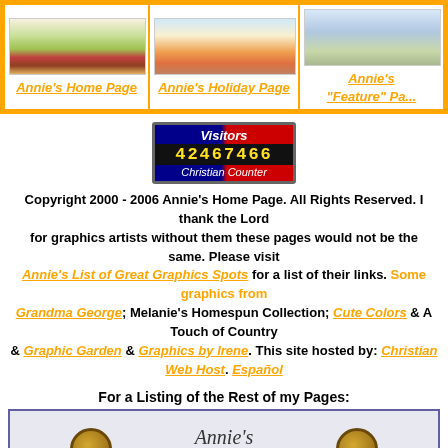| Annie's Home Page | Annie's Holiday Page | Annie's "Feature" Page |
| --- | --- | --- |
| [garden image] | [holiday image] | [featured image] |
| Annie's Home Page | Annie's Holiday Page | Annie's "Feature" Page |
[Figure (other): Visitor counter badge showing 42467466 visits - Christian Counter]
Copyright 2000 - 2006 Annie's Home Page. All Rights Reserved. I thank the Lord for graphics artists without them these pages would not be the same. Please visit Annie's List of Great Graphics Spots for a list of their links. Some graphics from Grandma George; Melanie's Homespun Collection; Cute Colors & A Touch of Country & Graphic Garden & Graphics by Irene. This site hosted by: Christian Web Host. Español
For a Listing of the Rest of my Pages:
[Figure (other): Annie's Directions to My House banner with two wooden spools]